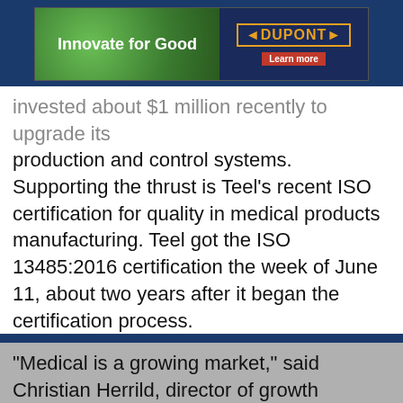[Figure (illustration): DuPont 'Innovate for Good' advertisement banner with green leaf background on left and DuPont logo on dark blue background on right, with Learn More button]
invested about $1 million recently to upgrade its production and control systems. Supporting the thrust is Teel's recent ISO certification for quality in medical products manufacturing. Teel got the ISO 13485:2016 certification the week of June 11, about two years after it began the certification process.
"Medical is a growing market," said Christian Herrild, director of growth strategy for Teel, in a phone interview.
"We also like to work in regulated markets," Herrild added. T[...] its enginee[...] oducts meet re[...] t
[Figure (illustration): Graham Engineering advertisement banner: blue logo with G, text 'GRAHAM ENGINEERING There is No Solution Too Big or Too Small', with machine photo and CLICK HERE button. Close (X) button in top right.]